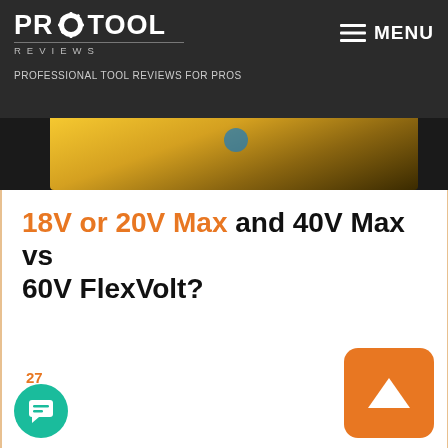PRO TOOL REVIEWS — PROFESSIONAL TOOL REVIEWS FOR PROS | MENU
[Figure (photo): Partial view of yellow power tool (likely DeWalt) on dark background]
18V or 20V Max and 40V Max vs 60V FlexVolt?